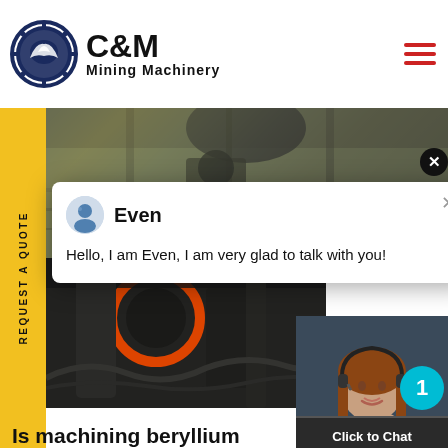C&M Mining Machinery
[Figure (photo): Mining machinery factory ceiling and industrial equipment photos in background]
[Figure (screenshot): Chat popup with agent Even saying: Hello, I am Even, I am very glad to talk with you!]
[Figure (photo): Customer service representative with headset, cyan notification badge showing 1]
Is machining beryllium dangerous? – CR4 Discus
Click to Chat
Enquiry